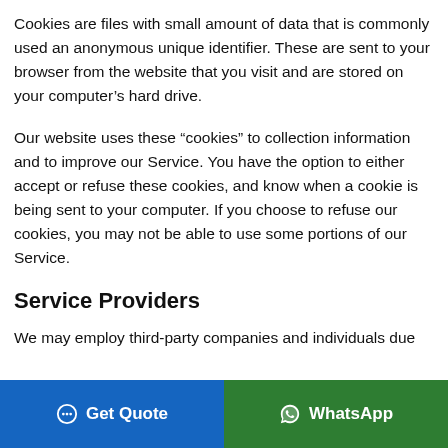Cookies are files with small amount of data that is commonly used an anonymous unique identifier. These are sent to your browser from the website that you visit and are stored on your computer's hard drive.
Our website uses these “cookies” to collection information and to improve our Service. You have the option to either accept or refuse these cookies, and know when a cookie is being sent to your computer. If you choose to refuse our cookies, you may not be able to use some portions of our Service.
Service Providers
We may employ third-party companies and individuals due